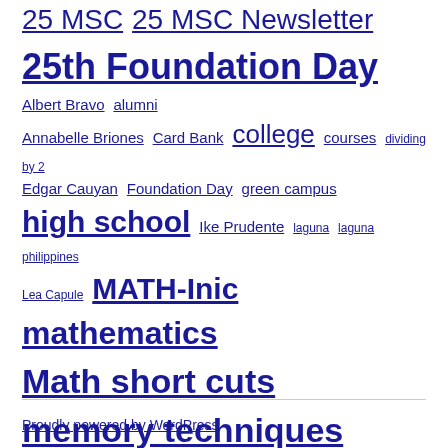25 MSC 25 MSC Newsletter 25th Foundation Day Albert Bravo alumni Annabelle Briones Card Bank college courses dividing by 2 Edgar Cauyan Foundation Day green campus high school Ike Prudente laguna laguna philippines Lea Capule MATH-Inic mathematics Math short cuts memory techniques MSC msc advantage msc alumni MSC Annex MSC Computer Training Center msc high school msc institute of technology multiplying by 9 multiplying complementary numbers programming Rica Mae Comia robotics san gabriel san pablo san pablo city squaring numbers ending in 5 technical technical-vocational Testimonials UPCAT UPLB vocational VYP-MSC Institute of Technology
Proudly powered by WordPress